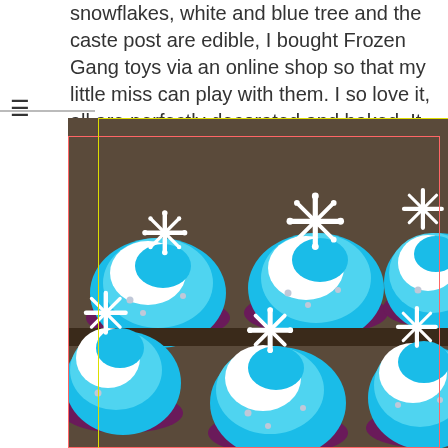snowflakes, white and blue tree and the caste post are edible, I bought Frozen Gang toys via an online shop so that my little miss can play with them. I so love it, all are perfectly decorated and baked. It was totally a real combination work of love and art.
[Figure (photo): Overhead view of blue and white swirled frosting cupcakes with white snowflake decorations and silver pearl sprinkles, in purple foil cups, arranged in a grid — a Frozen-themed dessert.]